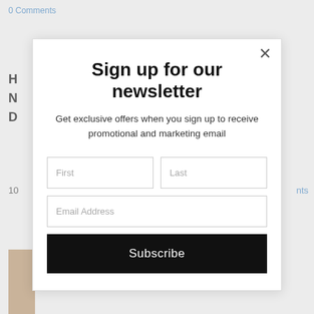0 Comments
H
N
D
10
nts
[Figure (photo): Brown/tan colored partial image visible behind modal]
Sign up for our newsletter
Get exclusive offers when you sign up to receive promotional and marketing email
First
Last
Email Address
Subscribe